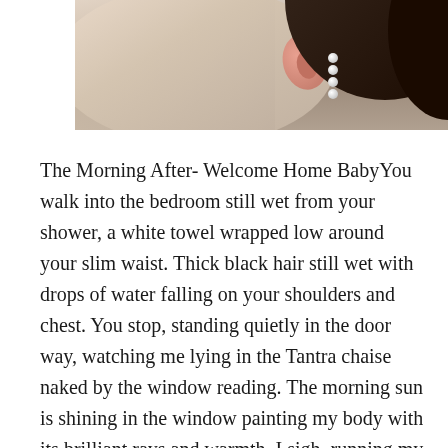[Figure (photo): Close-up photo of a person's neck and ear area with dark hair, pearl hair accessory, and skin showing]
The Morning After- Welcome Home BabyYou walk into the bedroom still wet from your shower, a white towel wrapped low around your slim waist. Thick black hair still wet with drops of water falling on your shoulders and chest. You stop, standing quietly in the door way, watching me lying in the Tantra chaise naked by the window reading. The morning sun is shining in the window painting my body with its brilliant rays and warmth. I sigh, running my hands through my red hair, disheveled from the night before, pushing curls away from my face. Seeing the freckles I hate sprinkled lightly